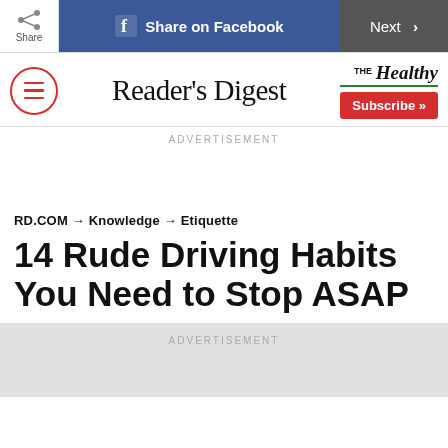Share | Share on Facebook | Next
[Figure (logo): Reader's Digest logo with hamburger menu icon and The Healthy branding with Subscribe button]
ADVERTISEMENT
RD.COM → Knowledge → Etiquette
14 Rude Driving Habits You Need to Stop ASAP
ADVERTISEMENT